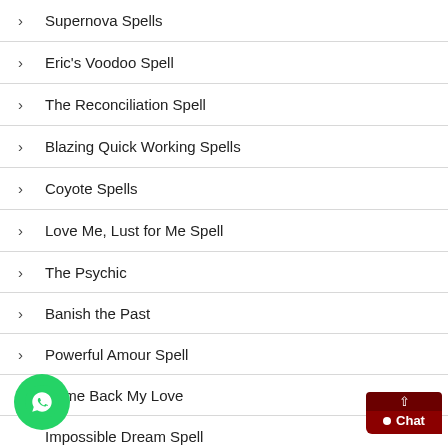Supernova Spells
Eric's Voodoo Spell
The Reconciliation Spell
Blazing Quick Working Spells
Coyote Spells
Love Me, Lust for Me Spell
The Psychic
Banish the Past
Powerful Amour Spell
Come Back My Love
Impossible Dream Spell
Paranormal Spellcasting